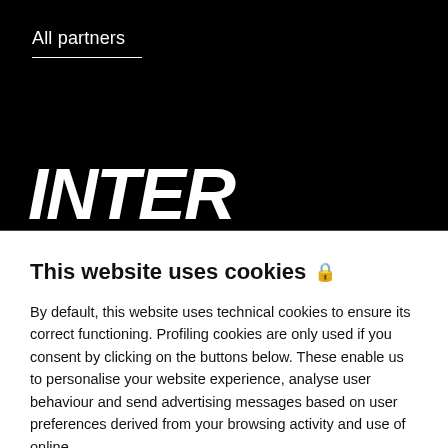All partners
[Figure (logo): Partial INTER logo text in large bold white italic font on black background]
This website uses cookies 🔒
By default, this website uses technical cookies to ensure its correct functioning. Profiling cookies are only used if you consent by clicking on the buttons below. These enable us to personalise your website experience, analyse user behaviour and send advertising messages based on user preferences derived from your browsing activity and use of online